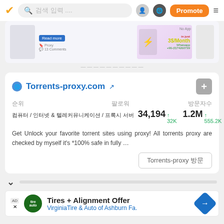[Figure (screenshot): Mobile app navigation bar with orange checkmark logo, search bar with Korean placeholder text, user icon, globe icon, orange Promote button, and hamburger menu]
[Figure (screenshot): Partially visible preview card showing a blog post with Read more button, proxy/comments metadata, and an advertisement with '3$/Month' WhatsApp promotion]
Torrents-proxy.com
순위  팔로워  방문자수
컴퓨터 / 인터넷 & 텔레커뮤니케이션 / 프록시 서버  34,194 ↑32K  1.2M ↑555.2K
Get Unlock your favorite torrent sites using proxy! All torrents proxy are checked by myself it's *100% safe in fully …
Torrents-proxy 방문
[Figure (screenshot): Ad banner: Tires + Alignment Offer, VirginiaTire & Auto of Ashburn Fa. with green tire auto logo and blue diamond arrow icon]